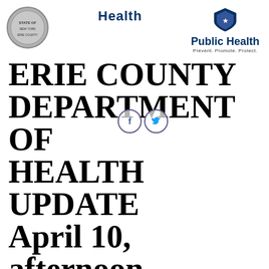[Figure (logo): Erie County seal/logo on the left, 'Health' text in center, shield and 'Public Health / Prevent. Promote. Protect.' logo on the right]
ERIE COUNTY DEPARTMENT OF HEALTH UPDATE April 10, afternoon
BY THENEWSTEADER ON APRIL 10, 2020
ERIE COUNTY, NY – The Erie County Department of Health (ECDOH) is making the following announcements.
COVID-19 Data Update
As of 4/10/2020 (2 p.m.), ECDOH received a total of 1,498 reports of positive lab-confirmed COVID-19 cases and 53 COVID-19 related deaths among Erie County residents. We